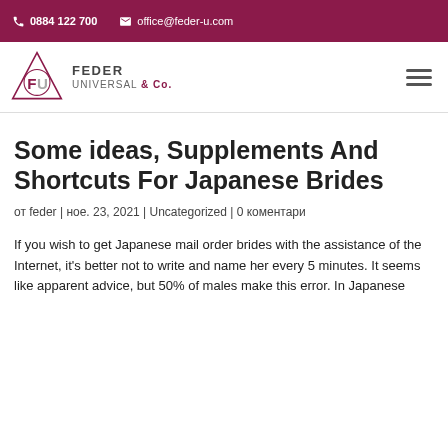0884 122 700  office@feder-u.com
[Figure (logo): Feder Universal & Co. logo with triangle and FU monogram]
Some ideas, Supplements And Shortcuts For Japanese Brides
от feder | ное. 23, 2021 | Uncategorized | 0 коментари
If you wish to get Japanese mail order brides with the assistance of the Internet, it's better not to write and name her every 5 minutes. It seems like apparent advice, but 50% of males make this error. In Japanese